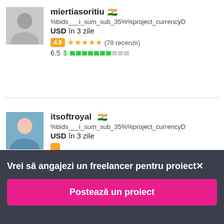miertiasoritiu (flag) %bids___i_sum_sub_35%%project_currencyD USD în 3 zile — 4.9 ★★★★★ (78 recenzii) 6.5 $ [bar]
itsoftroyal 🇮🇳 %bids___i_sum_sub_35%%project_currencyD USD în 3 zile
Vrei să angajezi un freelancer pentru proiect×
Postează un proiect